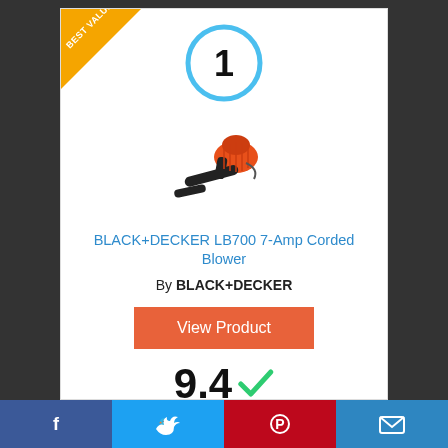[Figure (illustration): Best value corner ribbon badge in gold/orange]
[Figure (illustration): Rank number 1 inside a blue circle]
[Figure (photo): BLACK+DECKER LB700 orange leaf blower product photo]
BLACK+DECKER LB700 7-Amp Corded Blower
By BLACK+DECKER
View Product
9.4
Facebook | Twitter | Pinterest | Email